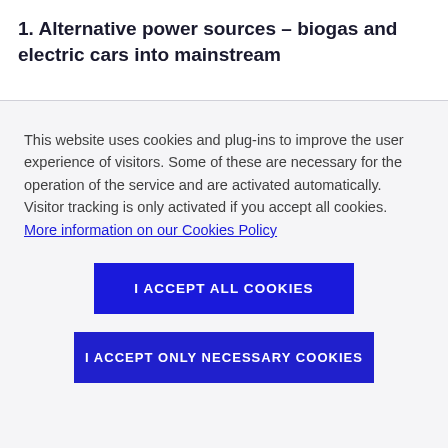1. Alternative power sources – biogas and electric cars into mainstream
This website uses cookies and plug-ins to improve the user experience of visitors. Some of these are necessary for the operation of the service and are activated automatically. Visitor tracking is only activated if you accept all cookies. More information on our Cookies Policy
I ACCEPT ALL COOKIES
I ACCEPT ONLY NECESSARY COOKIES